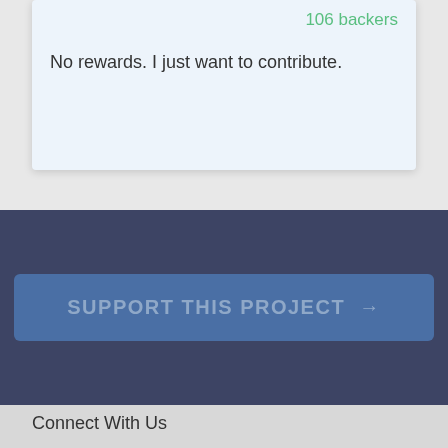106 backers
No rewards. I just want to contribute.
SUPPORT THIS PROJECT →
Connect With Us